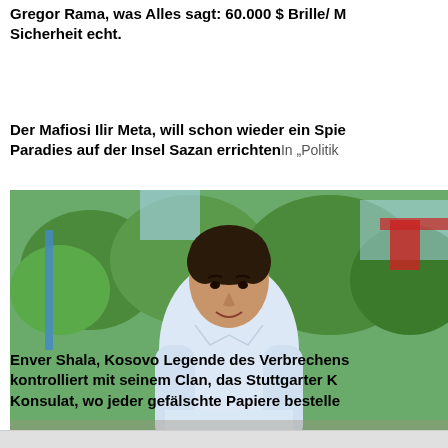Gregor Rama, was Alles sagt: 60.000 $ Brille/ M Sicherheit echt.
Der Mafiosi Ilir Meta, will schon wieder ein Spie Paradies auf der Insel Sazan errichten In „Politik
[Figure (photo): Photo of a man in a white shirt outdoors with green trees and urban background]
Enver Shala, Kosovo Legende des Verbrechens kontrolliert mit seinem Clan, das Stuttgarter Konsulat, wo jeder gefälschte Papiere bestelle